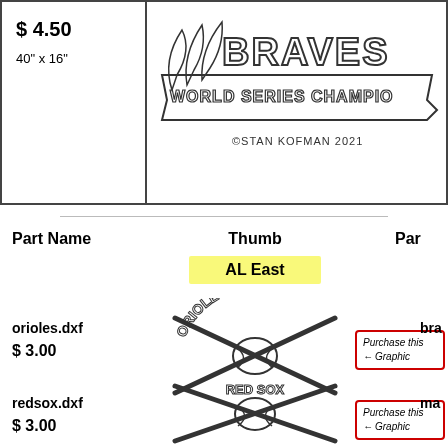[Figure (illustration): Top section with price box showing $4.50 and 40" x 16", and Braves World Series Champions graphic with copyright Stan Kofman 2021]
Part Name
Thumb
Par
AL East
orioles.dxf
$ 3.00
[Figure (illustration): Orioles baseball graphic with crossed bats and baseball, circular text reading ORIOLES]
[Figure (other): Purchase this Graphic button with red border and left arrow]
bra
redsox.dxf
$ 3.00
[Figure (illustration): Red Sox baseball graphic with crossed bats and baseball, text reading RED SOX]
[Figure (other): Purchase this Graphic button with red border and left arrow]
ma